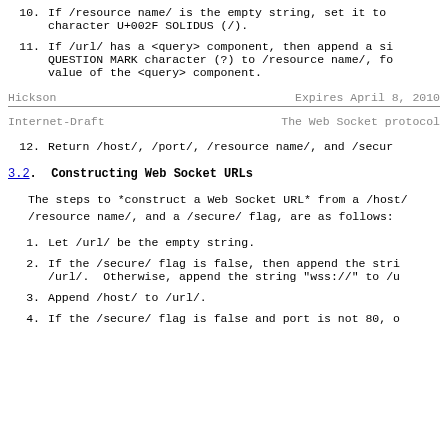10.  If /resource name/ is the empty string, set it to character U+002F SOLIDUS (/).
11.  If /url/ has a <query> component, then append a si QUESTION MARK character (?) to /resource name/, fo value of the <query> component.
Hickson                        Expires April 8, 2010
Internet-Draft          The Web Socket protocol
12.  Return /host/, /port/, /resource name/, and /secur
3.2.  Constructing Web Socket URLs
The steps to *construct a Web Socket URL* from a /host/ /resource name/, and a /secure/ flag, are as follows:
1.   Let /url/ be the empty string.
2.   If the /secure/ flag is false, then append the stri /url/.  Otherwise, append the string "wss://" to /u
3.   Append /host/ to /url/.
4.   If the /secure/ flag is false and port is not 80, o